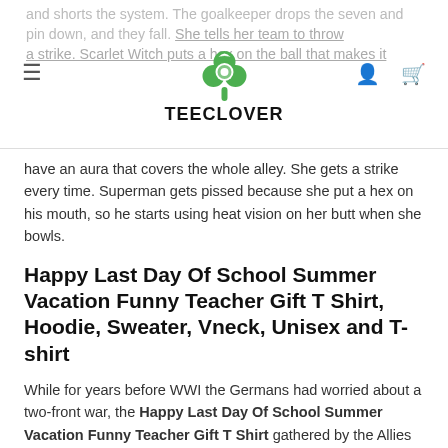TEECLOVER
and shorts the system. The goalkeeper drops the seven and pin down, and they fall. She tells her team to throw a strike. Scarlet Witch puts a hex on the ball that makes it have an aura that covers the whole alley. She gets a strike every time. Superman gets pissed because she put a hex on his mouth, so he starts using heat vision on her butt when she bowls.
Happy Last Day Of School Summer Vacation Funny Teacher Gift T Shirt, Hoodie, Sweater, Vneck, Unisex and T-shirt
While for years before WWI the Germans had worried about a two-front war, the Happy Last Day Of School Summer Vacation Funny Teacher Gift T Shirt gathered by the Allies after the war showed that it WAS the Germans that provoked the war. Correspondence and orders showed the Germans manipulating events so that chances for peace were deliberately denied. Of course with a house so listed, to be...